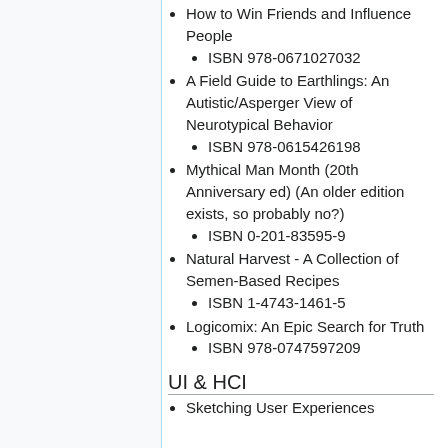How to Win Friends and Influence People
ISBN 978-0671027032
A Field Guide to Earthlings: An Autistic/Asperger View of Neurotypical Behavior
ISBN 978-0615426198
Mythical Man Month (20th Anniversary ed) (An older edition exists, so probably no?)
ISBN 0-201-83595-9
Natural Harvest - A Collection of Semen-Based Recipes
ISBN 1-4743-1461-5
Logicomix: An Epic Search for Truth
ISBN 978-0747597209
UI & HCI
Sketching User Experiences